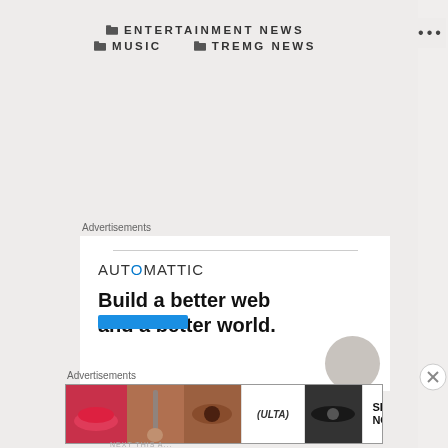ENTERTAINMENT NEWS   MUSIC   TREMG NEWS
Advertisements
[Figure (logo): Automattic advertisement with logo and tagline 'Build a better web and a better world.']
Advertisements
[Figure (photo): Ulta Beauty advertisement with makeup imagery and SHOP NOW call to action]